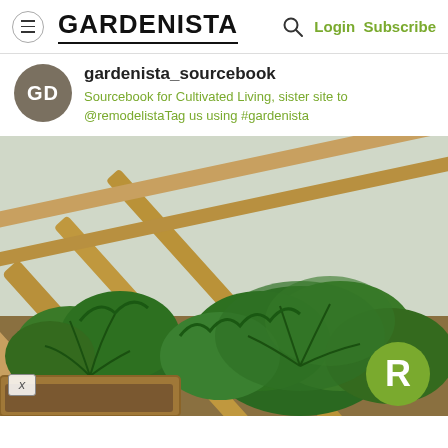GARDENISTA — Login Subscribe
gardenista_sourcebook
Sourcebook for Cultivated Living, sister site to @remodelistaTag us using #gardenista
[Figure (photo): Greenhouse with wooden frame structure and large green leafy plants (brassicas/kale) growing in raised beds. Diagonal wooden beams visible overhead with plastic sheeting. An 'R' badge (Remodelista) visible in lower right corner and an 'X' close button in lower left.]